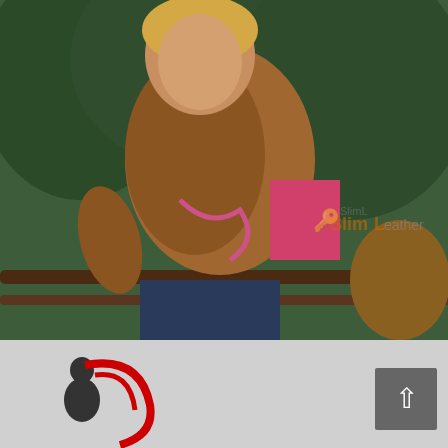[Figure (photo): Woman wearing a brown leather jacket leaning on a railing outdoors, with a SlimLeather watermark overlay]
♡Add to Wish List
⟳Compare this Product
Get The Girl 2017 Brown Leather Jacket
$179.99
[Figure (logo): SlimLeather logo in footer area with red and dark graphic elements on grey background]
[Figure (other): Back to top button arrow in grey box]